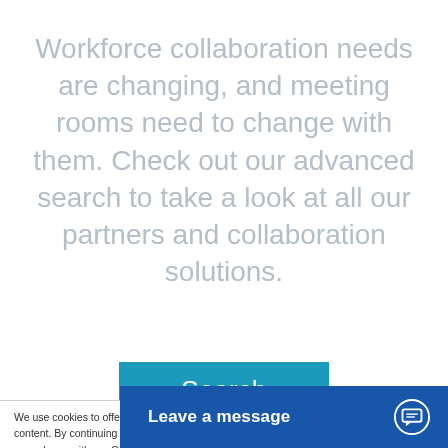Workforce collaboration needs are changing, and meeting rooms need to change with them. Check out our advanced search to take a look at all our partners and collaboration solutions.
[Figure (other): Blue 'Search' button]
We use cookies to offer you a better experience, analyze site traffic, and serve targeted content. By continuing to use this website, you consent to the use of cookies in accordance with our Cookie Policy.
[Figure (other): Grey 'Accept' button partially visible]
[Figure (other): Dark blue 'Leave a message' chat bar with chat bubble icon]